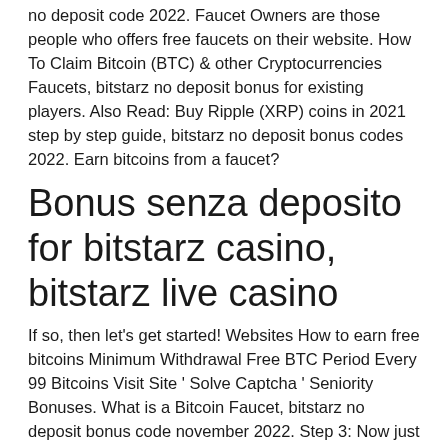no deposit code 2022. Faucet Owners are those people who offers free faucets on their website. How To Claim Bitcoin (BTC) & other Cryptocurrencies Faucets, bitstarz no deposit bonus for existing players. Also Read: Buy Ripple (XRP) coins in 2021 step by step guide, bitstarz no deposit bonus codes 2022. Earn bitcoins from a faucet?
Bonus senza deposito for bitstarz casino, bitstarz live casino
If so, then let's get started! Websites How to earn free bitcoins Minimum Withdrawal Free BTC Period Every 99 Bitcoins Visit Site ' Solve Captcha ' Seniority Bonuses. What is a Bitcoin Faucet, bitstarz no deposit bonus code november 2022. Step 3: Now just login to these faucets daily and claim rewards completing a simple captcha, bitstarz no deposit bonus codes november 2022. Shi...